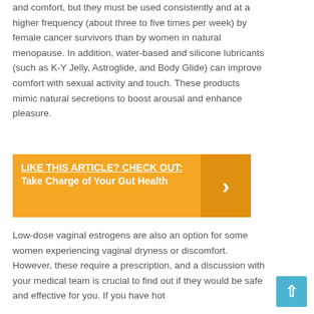and comfort, but they must be used consistently and at a higher frequency (about three to five times per week) by female cancer survivors than by women in natural menopause. In addition, water-based and silicone lubricants (such as K-Y Jelly, Astroglide, and Body Glide) can improve comfort with sexual activity and touch. These products mimic natural secretions to boost arousal and enhance pleasure.
[Figure (infographic): Yellow promotional banner reading 'LIKE THIS ARTICLE? CHECK OUT: Take Charge of Your Gut Health' with a right-arrow chevron button on the right side in a darker orange/amber background.]
Low-dose vaginal estrogens are also an option for some women experiencing vaginal dryness or discomfort. However, these require a prescription, and a discussion with your medical team is crucial to find out if they would be safe and effective for you. If you have hot